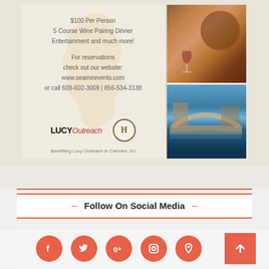[Figure (illustration): Event flyer for an Italian-themed dinner. Left side shows text: '$100 Per Person, 5 Course Wine Pairing Dinner, Entertainment and much more! For reservations check out our website: www.seameevents.com or call 609-602-3009 | 856-534-3138'. Features Italy silhouette watermark, Lucy Outreach and H logos. Right side shows photo collage of wine barrels/glasses and Venice canal.]
– Follow On Social Media –
[Figure (infographic): Row of 5 coral/orange circular social media icons: Facebook, Twitter, Google+, Instagram, Location pin. A coral square back-to-top arrow button on the right.]